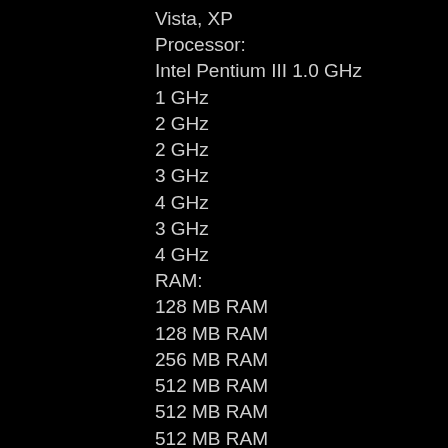Vista, XP
Processor:
Intel Pentium III 1.0 GHz
1 GHz
2 GHz
2 GHz
3 GHz
4 GHz
3 GHz
4 GHz
RAM:
128 MB RAM
128 MB RAM
256 MB RAM
512 MB RAM
512 MB RAM
512 MB RAM
512 MB RAM
640 MB RAM
Hard Drive:
80 GB